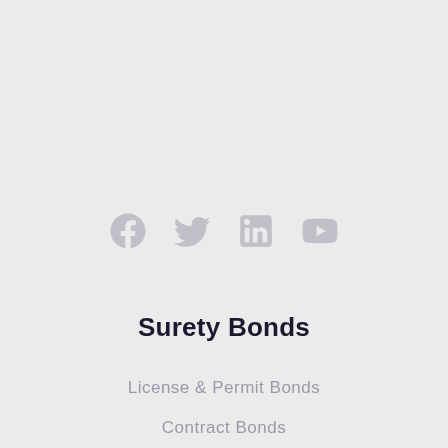[Figure (infographic): Four social media icons in a row: Facebook, Twitter, LinkedIn, YouTube — all rendered in light gray.]
Surety Bonds
License & Permit Bonds
Contract Bonds
Fidelity Bonds
Court Bonds